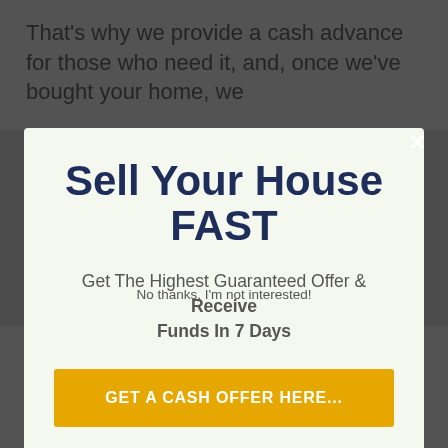That's why we provide a cash advance for those who need it, and, once we've bought your home, we
Sell Your House FAST
Get The Highest Guaranteed Offer & Receive Funds In 7 Days
GET A CASH OFFER HERE...
guarantee to acquire your house quickly (or could be speaking to them today).
No thanks, I'm not interested!